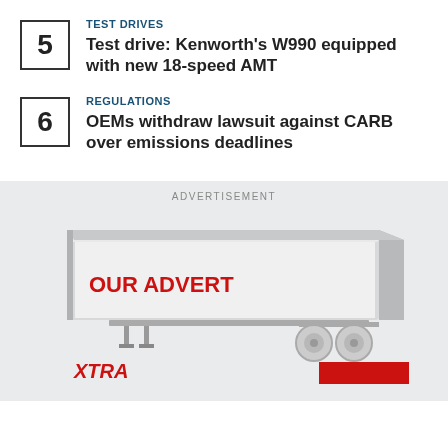TEST DRIVES
Test drive: Kenworth's W990 equipped with new 18-speed AMT
REGULATIONS
OEMs withdraw lawsuit against CARB over emissions deadlines
ADVERTISEMENT
[Figure (illustration): Advertisement featuring a white semi-trailer with OUR ADVERT text in red, wheels visible, and XTRA logo at bottom left with a red box at bottom right]